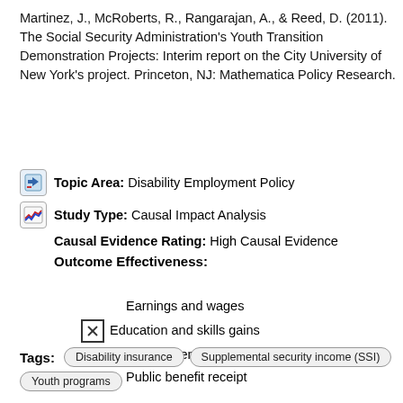Martinez, J., McRoberts, R., Rangarajan, A., & Reed, D. (2011). The Social Security Administration's Youth Transition Demonstration Projects: Interim report on the City University of New York's project. Princeton, NJ: Mathematica Policy Research.
Topic Area: Disability Employment Policy
Study Type: Causal Impact Analysis
Causal Evidence Rating: High Causal Evidence
Outcome Effectiveness:
Earnings and wages
Education and skills gains
Employment
Public benefit receipt
Tags: Disability insurance  Supplemental security income (SSI)  Youth programs